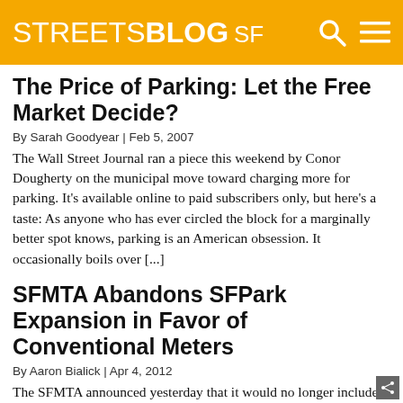STREETSBLOG SF
The Price of Parking: Let the Free Market Decide?
By Sarah Goodyear | Feb 5, 2007
The Wall Street Journal ran a piece this weekend by Conor Dougherty on the municipal move toward charging more for parking. It's available online to paid subscribers only, but here's a taste: As anyone who has ever circled the block for a marginally better spot knows, parking is an American obsession. It occasionally boils over [...]
SFMTA Abandons SFPark Expansion in Favor of Conventional Meters
By Aaron Bialick | Apr 4, 2012
The SFMTA announced yesterday that it would no longer include areas of the Dogpatch, Potrero Hill, and Mission neighborhoods in its pilot expansion of SFPark after